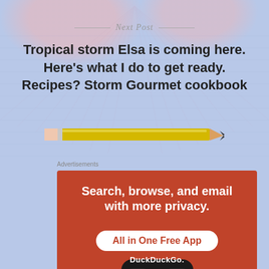Next Post
Tropical storm Elsa is coming here. Here’s what I do to get ready. Recipes? Storm Gourmet cookbook
[Figure (illustration): A yellow pencil illustration centered horizontally]
Advertisements
[Figure (screenshot): DuckDuckGo advertisement banner on red/orange background with text: Search, browse, and email with more privacy. All in One Free App. Shows a smartphone with DuckDuckGo logo and DuckDuckGo. text at bottom.]